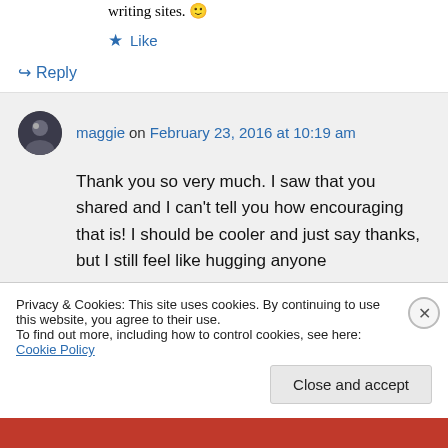writing sites. 🙂
★ Like
↪ Reply
maggie on February 23, 2016 at 10:19 am
Thank you so very much. I saw that you shared and I can't tell you how encouraging that is! I should be cooler and just say thanks, but I still feel like hugging anyone
Privacy & Cookies: This site uses cookies. By continuing to use this website, you agree to their use.
To find out more, including how to control cookies, see here: Cookie Policy
Close and accept